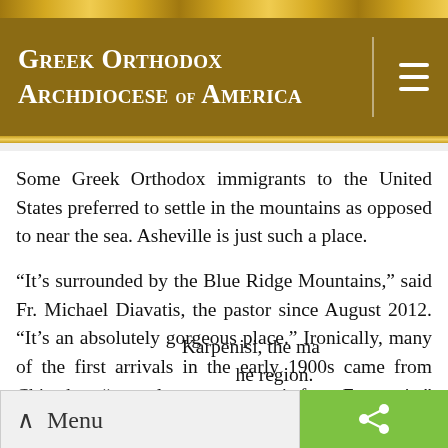Greek Orthodox Archdiocese of America
Some Greek Orthodox immigrants to the United States preferred to settle in the mountains as opposed to near the sea. Asheville is just such a place.
“It’s surrounded by the Blue Ridge Mountains,” said Fr. Michael Diavatis, the pastor since August 2012. “It’s an absolutely gorgeous place.” Ironically, many of the first arrivals in the early 1900s came from Chios but, “now almost everyone is from Evrytania,” the mountainous region in Central Greece west of Lamia and east of Arta and Amfilohia. This explains why one of
Karpenisi, the ma… he region.
∧ Menu